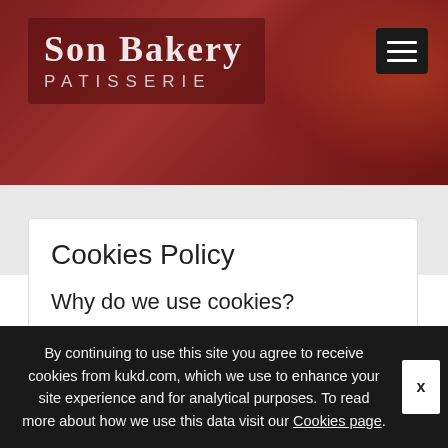Son Bakery PATISSERIE
Cookies Policy
Why do we use cookies?
Our website uses cookies to distinguish you from other users of our website. This helps us to provide
By continuing to use this site you agree to receive cookies from kukd.com, which we use to enhance your site experience and for analytical purposes. To read more about how we use this data visit our Cookies page.